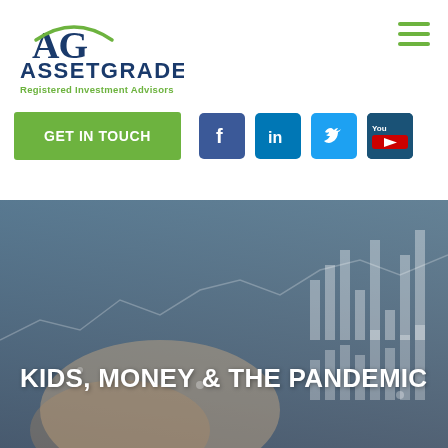[Figure (logo): AssetGrade logo with stylized AG letters and arc, text 'ASSETGRADE' and 'Registered Investment Advisors']
[Figure (other): Hamburger menu icon (three green horizontal lines)]
GET IN TOUCH
[Figure (other): Social media icons: Facebook, LinkedIn, Twitter, YouTube]
[Figure (photo): Background hero image of hands writing/signing a document with financial chart overlay graphics]
KIDS, MONEY & THE PANDEMIC